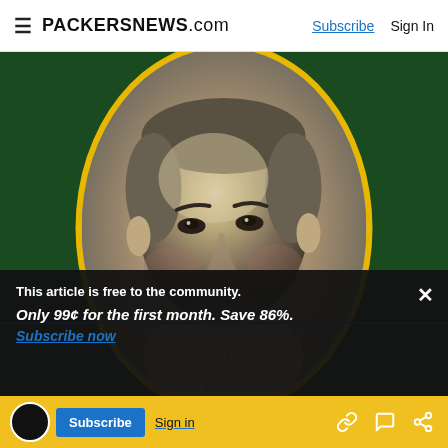PACKERSNEWS.com  Subscribe  Sign In
[Figure (photo): Vintage black-and-white portrait photo of a Green Bay Packers player inside a yellow oval frame on a dark green background. The player appears to be a young man in a formal pose.]
This article is free to the community.
Only 99¢ for the first month. Save 86%.
Subscribe now
GUARD #28